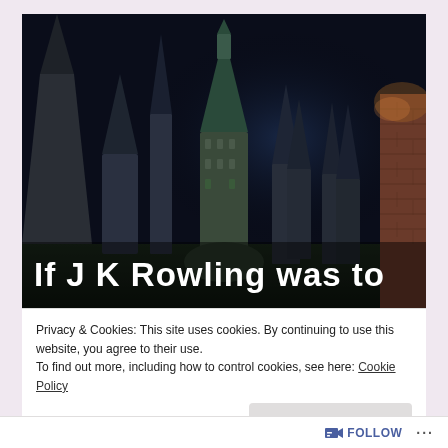[Figure (photo): Dark fantasy castle scene with tall spires and towers against a dark night sky, resembling Hogwarts. White bold text overlay reads 'If J K Rowling was to']
Privacy & Cookies: This site uses cookies. By continuing to use this website, you agree to their use.
To find out more, including how to control cookies, see here: Cookie Policy
Close and accept
FOLLOW